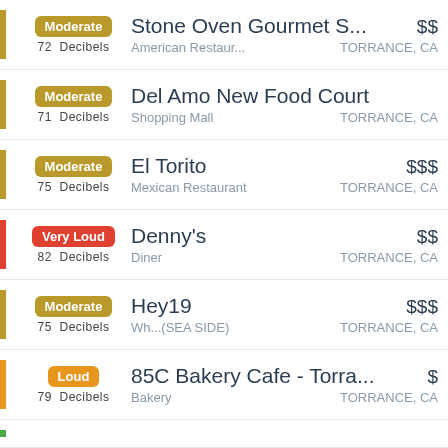Moderate 72 Decibels | Stone Oven Gourmet S... $$ | American Restaur... TORRANCE, CA
Moderate 71 Decibels | Del Amo New Food Court | Shopping Mall TORRANCE, CA
Moderate 75 Decibels | El Torito $$$ | Mexican Restaurant TORRANCE, CA
Very Loud 82 Decibels | Denny's $$ | Diner TORRANCE, CA
Moderate 75 Decibels | Hey19 $$$ | Wh...(SEA SIDE) TORRANCE, CA
Loud 79 Decibels | 85C Bakery Cafe - Torra... $ | Bakery TORRANCE, CA